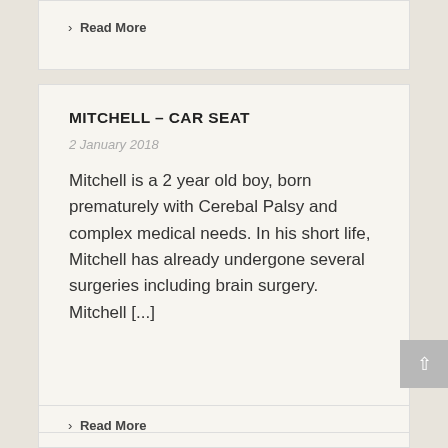› Read More
MITCHELL – CAR SEAT
2 January 2018
Mitchell is a 2 year old boy, born prematurely with Cerebal Palsy and complex medical needs. In his short life, Mitchell has already undergone several surgeries including brain surgery. Mitchell [...]
› Read More